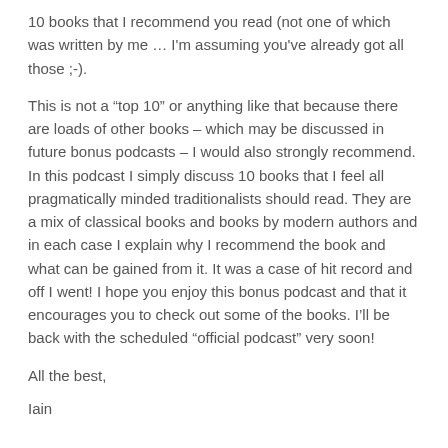10 books that I recommend you read (not one of which was written by me … I'm assuming you've already got all those ;-).
This is not a “top 10” or anything like that because there are loads of other books – which may be discussed in future bonus podcasts – I would also strongly recommend. In this podcast I simply discuss 10 books that I feel all pragmatically minded traditionalists should read. They are a mix of classical books and books by modern authors and in each case I explain why I recommend the book and what can be gained from it. It was a case of hit record and off I went! I hope you enjoy this bonus podcast and that it encourages you to check out some of the books. I’ll be back with the scheduled “official podcast” very soon!
All the best,
Iain